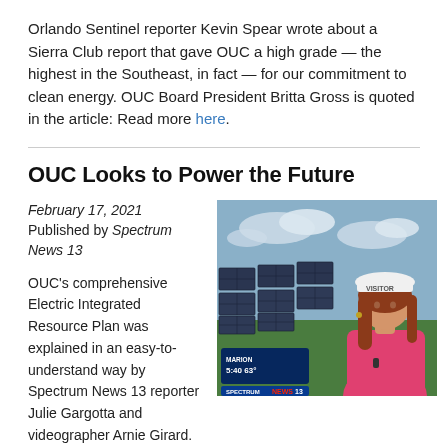Orlando Sentinel reporter Kevin Spear wrote about a Sierra Club report that gave OUC a high grade — the highest in the Southeast, in fact — for our commitment to clean energy. OUC Board President Britta Gross is quoted in the article: Read more here.
OUC Looks to Power the Future
February 17, 2021
Published by Spectrum News 13
[Figure (photo): A woman wearing a white hard hat labeled VISITOR stands in front of solar panels under a partly cloudy sky. A Spectrum News 13 lower-third graphic shows MARION 5:40 63°.]
OUC's comprehensive Electric Integrated Resource Plan was explained in an easy-to-understand way by Spectrum News 13 reporter Julie Gargotta and videographer Arnie Girard. The two recently toured Stanton Energy Center with Tim Trudell, Senior